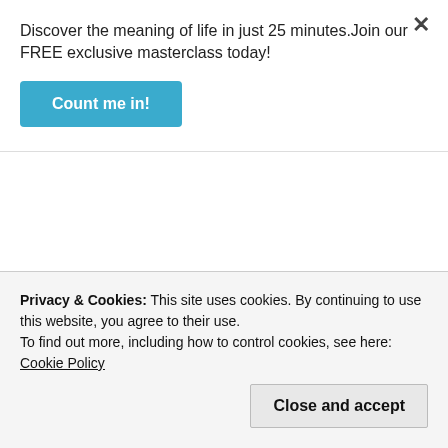Discover the meaning of life in just 25 minutes.Join our FREE exclusive masterclass today!
Count me in!
However, none of your comments would support the trinity doctrine. You know it in yourself that the trinity isn't in the Bible and is rooted in Paganism. It amazes me how so many pro-trinity Christians would desperately defend a doctrine that isn't in the Bible.
Christ didn't teach about the trinity.
Privacy & Cookies: This site uses cookies. By continuing to use this website, you agree to their use.
To find out more, including how to control cookies, see here: Cookie Policy
Close and accept